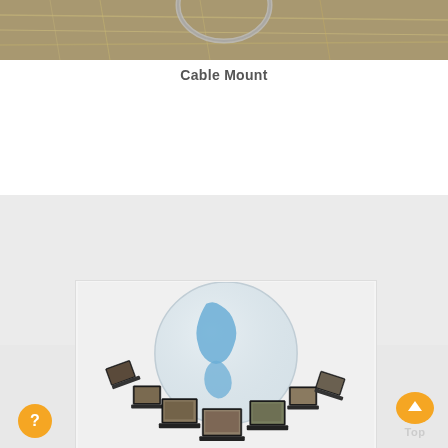[Figure (photo): Top portion of a cable mount image, showing rope/cable hardware on a beige/brown background]
Cable Mount
[Figure (illustration): 3D illustration of multiple laptops arranged in a circle around a large globe, representing a global network or internet connectivity concept]